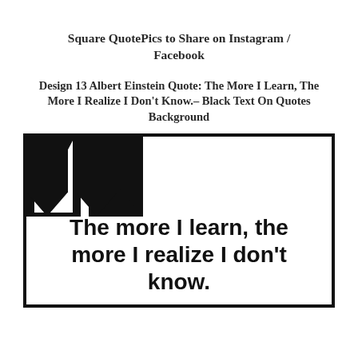Square QuotePics to Share on Instagram / Facebook
Design 13 Albert Einstein Quote: The More I Learn, The More I Realize I Don't Know.– Black Text On Quotes Background
[Figure (illustration): A square white box with thick black border and large decorative quotation marks in upper-left corner. Inside text reads: The more I learn, the more I realize I don't know.]